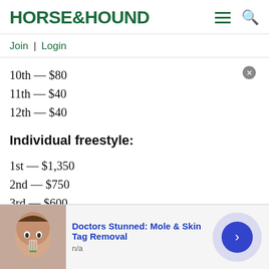HORSE&HOUND
Join | Login
10th — $80
11th — $40
12th — $40
Individual freestyle:
1st — $1,350
2nd — $750
3rd — $600
[Figure (other): Advertisement banner: Doctors Stunned: Mole & Skin Tag Removal, showing a person's face with a device, n/a label, and a blue arrow button]